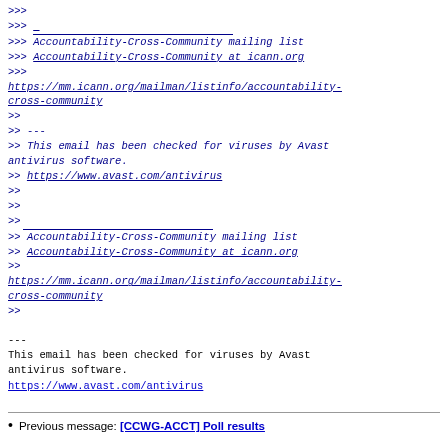>>> 
>>> ___
>>> Accountability-Cross-Community mailing list
>>> Accountability-Cross-Community at icann.org
>>>
https://mm.icann.org/mailman/listinfo/accountability-cross-community
>>
>> ---
>> This email has been checked for viruses by Avast antivirus software.
>> https://www.avast.com/antivirus
>>
>>
>> ___
>> Accountability-Cross-Community mailing list
>> Accountability-Cross-Community at icann.org
>>
https://mm.icann.org/mailman/listinfo/accountability-cross-community
>>
---
This email has been checked for viruses by Avast antivirus software.
https://www.avast.com/antivirus
Previous message: [CCWG-ACCT] Poll results